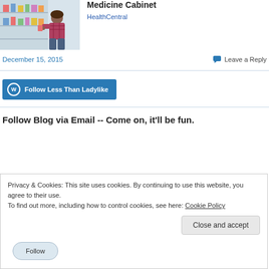[Figure (photo): Woman browsing pharmacy shelf with products]
Medicine Cabinet
HealthCentral
December 15, 2015
Leave a Reply
Follow Less Than Ladylike
Follow Blog via Email -- Come on, it'll be fun.
Privacy & Cookies: This site uses cookies. By continuing to use this website, you agree to their use.
To find out more, including how to control cookies, see here: Cookie Policy
Close and accept
Follow